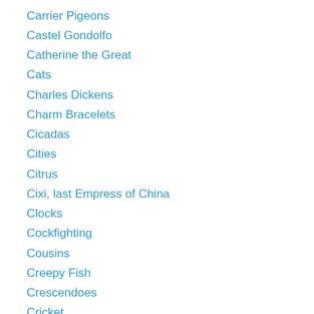Carrier Pigeons
Castel Gondolfo
Catherine the Great
Cats
Charles Dickens
Charm Bracelets
Cicadas
Cities
Citrus
Cixi, last Empress of China
Clocks
Cockfighting
Cousins
Creepy Fish
Crescendoes
Cricket
Crime Science
Crop Circles
Crows
Currier and Ives